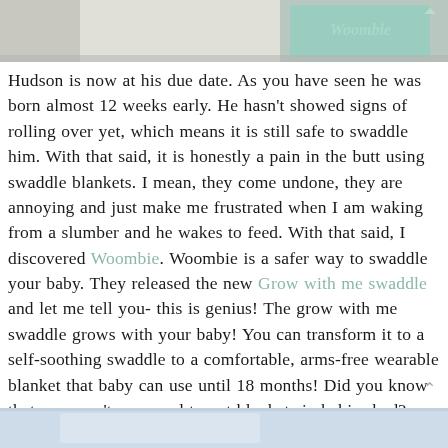[Figure (photo): Top portion of image showing a product box with teal/green packaging and the Woombie logo visible]
Hudson is now at his due date. As you have seen he was born almost 12 weeks early. He hasn't showed signs of rolling over yet, which means it is still safe to swaddle him. With that said, it is honestly a pain in the butt using swaddle blankets. I mean, they come undone, they are annoying and just make me frustrated when I am waking from a slumber and he wakes to feed. With that said, I discovered Woombie. Woombie is a safer way to swaddle your baby. They released the new Grow with me swaddle and let me tell you- this is genius! The grow with me swaddle grows with your baby! You can transform it to a self-soothing swaddle to a comfortable, arms-free wearable blanket that baby can use until 18 months! Did you know that you aren't supposed to put blankets in babies bed?
[Figure (photo): Bottom portion showing a baby product image with light blue/white tones]